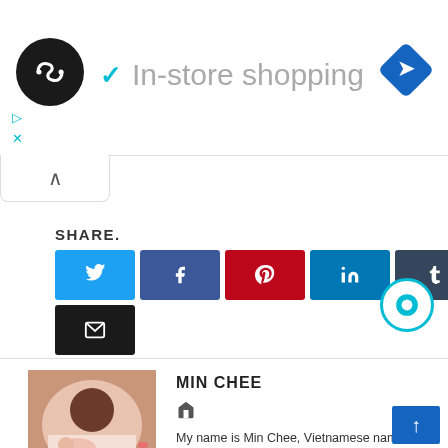[Figure (screenshot): Top navigation bar with circular logo, checkmark and 'In-store shopping' label, and blue diamond navigation icon]
[Figure (screenshot): Collapse/expand tab UI element with upward caret]
SHARE.
[Figure (infographic): Social share buttons: Twitter (blue), Facebook (dark blue), Pinterest (red), LinkedIn (teal), Tumblr (dark slate), Email (black)]
[Figure (infographic): Circular chat/comment button with teal border]
[Figure (photo): Author photo of Min Chee, a woman resting on a bed with rose petals]
MIN CHEE
[Figure (infographic): Home icon]
My name is Min Chee, Vietnamese name is Trang. Currently working as an employee of a